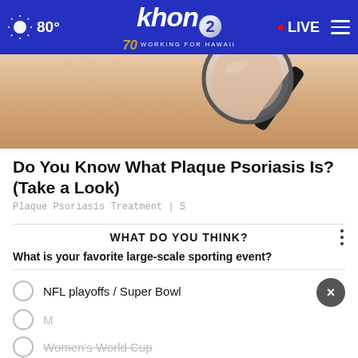khon2 — 80° — LIVE — WORKING FOR HAWAII
[Figure (photo): Close-up of skin with magnifying glass, representing plaque psoriasis article image]
Do You Know What Plaque Psoriasis Is? (Take a Look)
Plaque Psoriasis Treatment | S
WHAT DO YOU THINK?
What is your favorite large-scale sporting event?
NFL playoffs / Super Bowl
Women's World Cup
[Figure (screenshot): Ad banner for Sea Choy's In the Kitchen show on khon2 and KHII, sponsored by d.otani Produce, airing Sundays at 6:30pm & 10:30pm]